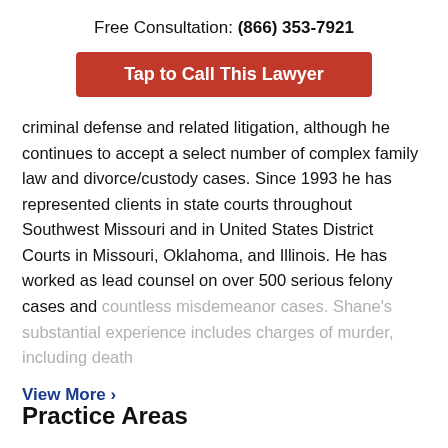Free Consultation: (866) 353-7921
[Figure (other): Red button: Tap to Call This Lawyer]
criminal defense and related litigation, although he continues to accept a select number of complex family law and divorce/custody cases. Since 1993 he has represented clients in state courts throughout Southwest Missouri and in United States District Courts in Missouri, Oklahoma, and Illinois. He has worked as lead counsel on over 500 serious felony cases and countless misdemeanor cases. Shane’s substantial experience includes charges of murder, including death
View More ›
Practice Areas